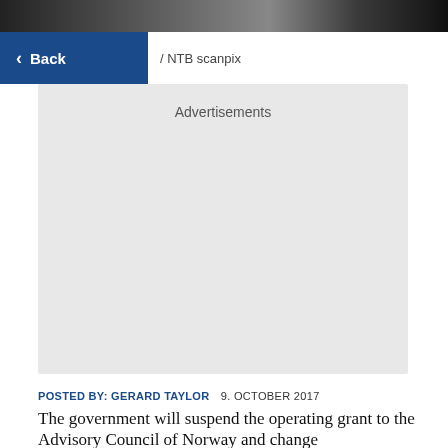[Figure (photo): Dark photo strip at top of page showing people]
Back
/ NTB scanpix
[Figure (other): Advertisements placeholder box]
Advertisements
POSTED BY: GERARD TAYLOR   9. OCTOBER 2017
The government will suspend the operating grant to the Advisory Council of Norway and change